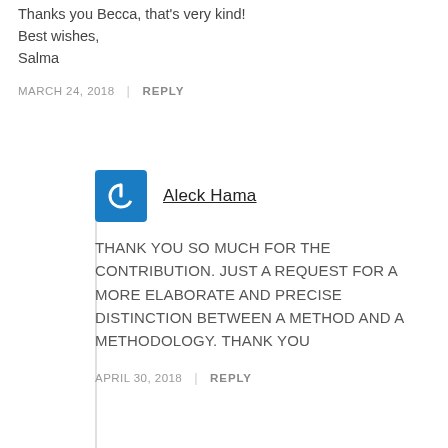Thanks you Becca, that's very kind!
Best wishes,
Salma
MARCH 24, 2018 | REPLY
Aleck Hama
THANK YOU SO MUCH FOR THE CONTRIBUTION. JUST A REQUEST FOR A MORE ELABORATE AND PRECISE DISTINCTION BETWEEN A METHOD AND A METHODOLOGY. THANK YOU
APRIL 30, 2018 | REPLY